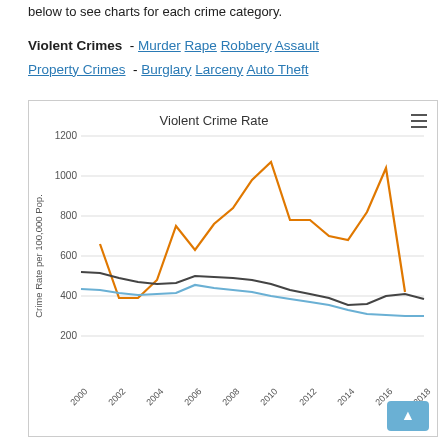below to see charts for each crime category.
Violent Crimes - Murder Rape Robbery Assault
Property Crimes - Burglary Larceny Auto Theft
[Figure (line-chart): Violent Crime Rate]